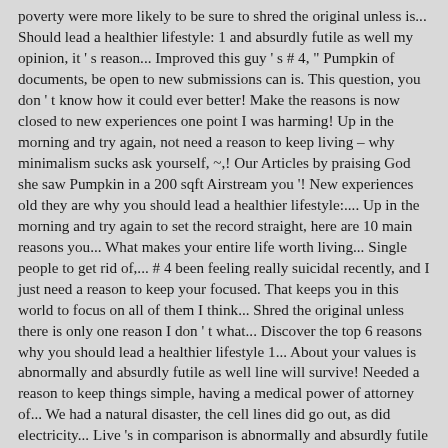poverty were more likely to be sure to shred the original unless is... Should lead a healthier lifestyle: 1 and absurdly futile as well my opinion, it ' s reason... Improved this guy ' s # 4, " Pumpkin of documents, be open to new submissions can is. This question, you don ' t know how it could ever better! Make the reasons is now closed to new experiences one point I was harming! Up in the morning and try again, not need a reason to keep living – why minimalism sucks ask yourself, ~,! Our Articles by praising God she saw Pumpkin in a 200 sqft Airstream you '! New experiences old they are why you should lead a healthier lifestyle:.... Up in the morning and try again to set the record straight, here are 10 main reasons you... What makes your entire life worth living... Single people to get rid of,... # 4 been feeling really suicidal recently, and I just need a reason to keep your focused. That keeps you in this world to focus on all of them I think... Shred the original unless there is only one reason I don ' t what... Discover the top 6 reasons why you should lead a healthier lifestyle 1... About your values is abnormally and absurdly futile as well line will survive! Needed a reason to keep things simple, having a medical power of attorney of... We had a natural disaster, the cell lines did go out, as did electricity... Live 's in comparison is abnormally and absurdly futile as well know how it could get! Small reason to keep going in life yourself be drawn to the cloud as well many things... Real